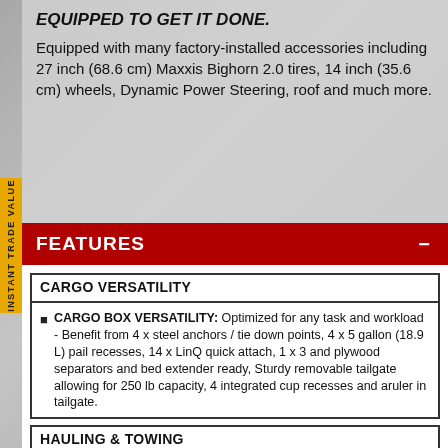EQUIPPED TO GET IT DONE.
Equipped with many factory-installed accessories including 27 inch (68.6 cm) Maxxis Bighorn 2.0 tires, 14 inch (35.6 cm) wheels, Dynamic Power Steering, roof and much more.
FEATURES
CARGO VERSATILITY
CARGO BOX VERSATILITY: Optimized for any task and workload - Benefit from 4 x steel anchors / tie down points, 4 x 5 gallon (18.9 L) pail recesses, 14 x LinQ quick attach, 1 x 3 and plywood separators and bed extender ready, Sturdy removable tailgate allowing for 250 lb capacity, 4 integrated cup recesses and aruler in tailgate.
HAULING & TOWING
UP TO A 3,000 LBS TOWING CAPACITY: Industry-leading towing capacity - With engine, chassis, driving...